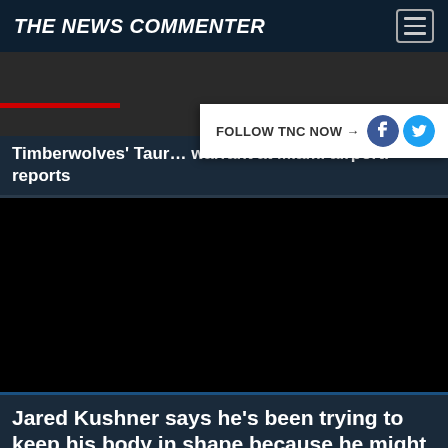THE NEWS COMMENTER
[Figure (screenshot): Partially visible news article image with a red bar accent, showing a dark/grey background]
Timberwolves' Taur… warrant at Miami airport: reports
FOLLOW TNC NOW →
[Figure (photo): Black/dark rectangular image area for video or photo related to Jared Kushner article]
Jared Kushner says he's been trying to keep his body in shape because he might one day become immortal